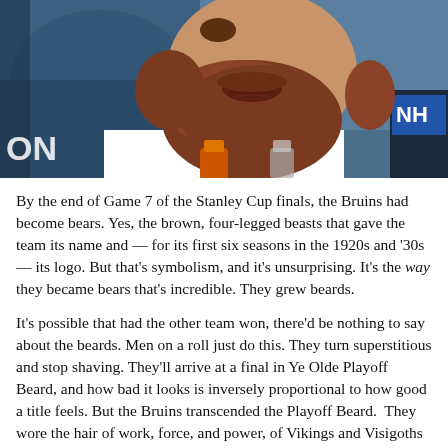[Figure (photo): A bearded man in a white t-shirt laughing, photographed from the chest up. He has a large reddish-brown beard. In the background are blurred blue stadium seats and what appears to be an NHL broadcast microphone in the lower right corner. There are orange and clear bottles/glasses in the foreground.]
By the end of Game 7 of the Stanley Cup finals, the Bruins had become bears. Yes, the brown, four-legged beasts that gave the team its name and — for its first six seasons in the 1920s and '30s — its logo. But that's symbolism, and it's unsurprising. It's the way they became bears that's incredible. They grew beards.
It's possible that had the other team won, there'd be nothing to say about the beards. Men on a roll just do this. They turn superstitious and stop shaving. They'll arrive at a final in Ye Olde Playoff Beard, and how bad it looks is inversely proportional to how good a title feels. But the Bruins transcended the Playoff Beard.  They wore the hair of work, force, and power, of Vikings and Visigoths